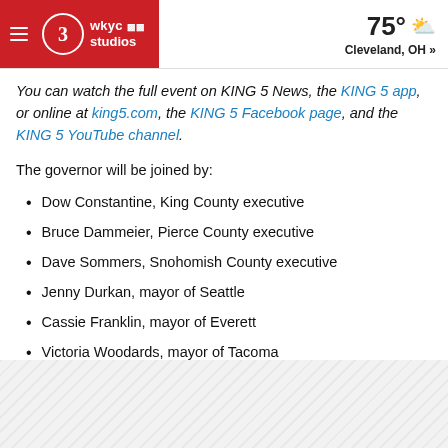WKYC Studios | 75° Cleveland, OH »
You can watch the full event on KING 5 News, the KING 5 app, or online at king5.com, the KING 5 Facebook page, and the KING 5 YouTube channel.
The governor will be joined by:
Dow Constantine, King County executive
Bruce Dammeier, Pierce County executive
Dave Sommers, Snohomish County executive
Jenny Durkan, mayor of Seattle
Cassie Franklin, mayor of Everett
Victoria Woodards, mayor of Tacoma